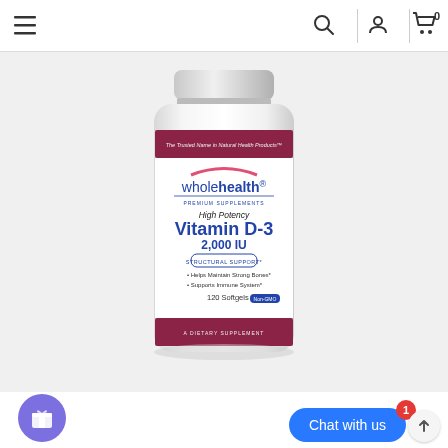Navigation bar with hamburger menu, search, account, and cart (0 items)
[Figure (photo): A white plastic supplement bottle from WholeHealth Premium Supplements. The label features a dark red/maroon band at top and bottom. Top band reads: 'The Trusted Name in Natural Health Products'. Main label area shows: WholeHealth logo with pink arc, 'PREMIUM SUPPLEMENTS', 'High Potency', 'Vitamin D-3', '2,000 IU', 'STRUCTURAL SUPPORT*', '• Helps Maintain Strong Bones*', '• Supports Immune System*', '120 Softgels Non-GMO', 'A DIETARY SUPPLEMENT'. Bottom maroon band is present.]
[Figure (other): Blue rounded rectangle 'Chat with us' button with red notification badge showing '1', a purple circular gift icon button at bottom left, and a scroll-to-top arrow button at bottom right.]